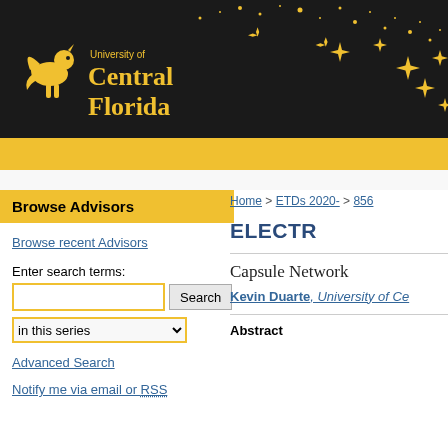[Figure (logo): University of Central Florida logo on black banner with golden pegasus, gold text, and scattered gold star sparkles]
Browse Advisors
Browse recent Advisors
Enter search terms:
in this series
Advanced Search
Notify me via email or RSS
Home > ETDs 2020- > 856
ELECTR
Capsule Network
Kevin Duarte, University of Ce
Abstract